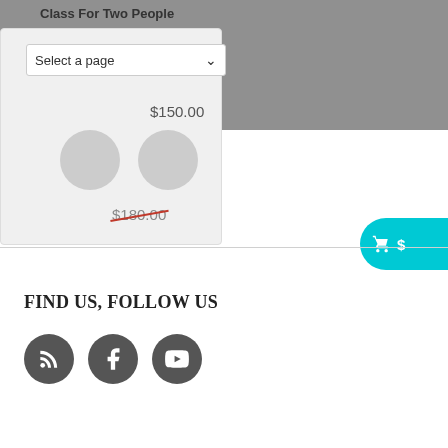Class For Two People
Select a page
$180.00  $150.00
FIND US, FOLLOW US
[Figure (other): Social media icons: RSS feed, Facebook, YouTube — dark grey circles with white icons]